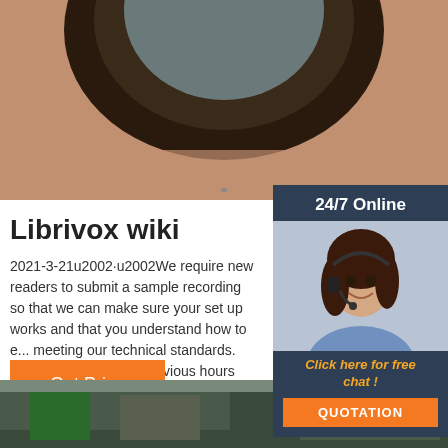[Figure (photo): Close-up of a dark circular industrial or architectural element, top portion cropped]
24/7 Online
[Figure (photo): Woman with headset smiling, customer service representative]
Click here for free chat !
QUOTATION
Librivox wiki
2021-3-21u2002·u2002We require new readers to submit a sample recording so that we can make sure your set up works and that you understand how to e... meeting our technical standards. We do not w... waste previous hours reading whole chapters only to discover that your recording is unusable due to a preventable technical glitch. 1-Minute Test
Get Price
[Figure (illustration): Orange TOP icon with dots forming a triangle above the text TOP]
[Figure (photo): Industrial facility interior, green and gray tones, bottom strip]